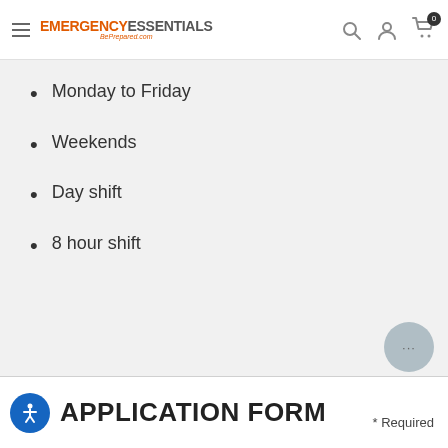Emergency Essentials BePrepared.com
Monday to Friday
Weekends
Day shift
8 hour shift
APPLICATION FORM
* Required